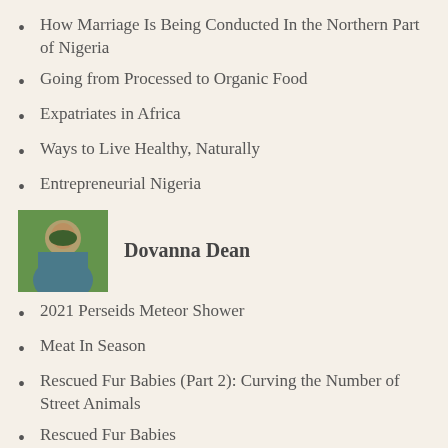How Marriage Is Being Conducted In the Northern Part of Nigeria
Going from Processed to Organic Food
Expatriates in Africa
Ways to Live Healthy, Naturally
Entrepreneurial Nigeria
[Figure (photo): Photo of Dovanna Dean]
Dovanna Dean
2021 Perseids Meteor Shower
Meat In Season
Rescued Fur Babies (Part 2): Curving the Number of Street Animals
Rescued Fur Babies
Gratitude Is Mental! (A Letter to Myself)
[Figure (photo): Photo of Edissa Nicolás-Huntsman]
Edissa Nicolás-Huntsman
ShopAtMatter.com! A Black-Owned Bookstore in Downtown Denver (A Photo Essay for Artists